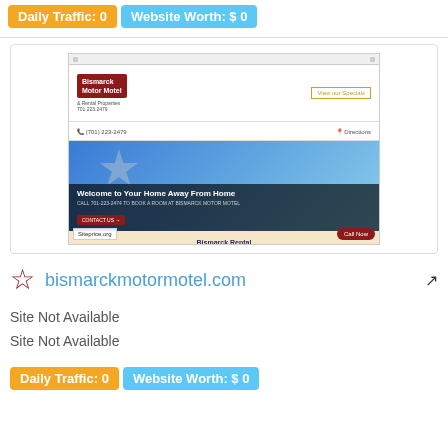Daily Traffic: 0   Website Worth: $ 0
[Figure (screenshot): Screenshot of bismarckmotormotel.com showing the Bismarck Motor Motel website with a hero image, 'Welcome to Your Home Away From Home' headline, and Bismarck Rental Properties LLC sign]
bismarckmotormotel.com
Site Not Available
Site Not Available
Daily Traffic: 0   Website Worth: $ 0